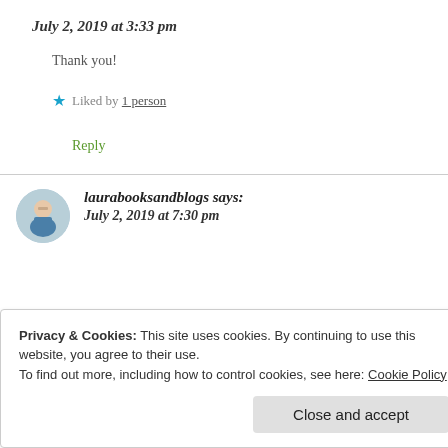July 2, 2019 at 3:33 pm
Thank you!
★ Liked by 1 person
Reply
laurabooksandblogs says:
July 2, 2019 at 7:30 pm
Privacy & Cookies: This site uses cookies. By continuing to use this website, you agree to their use.
To find out more, including how to control cookies, see here: Cookie Policy
Close and accept